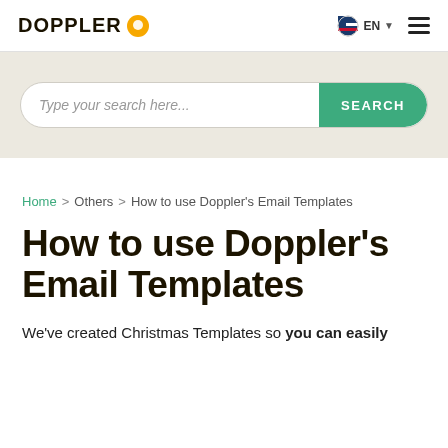DOPPLER EN
[Figure (screenshot): Search bar with placeholder 'Type your search here...' and green SEARCH button, on a beige/tan background]
Home > Others > How to use Doppler's Email Templates
How to use Doppler's Email Templates
We've created Christmas Templates so you can easily